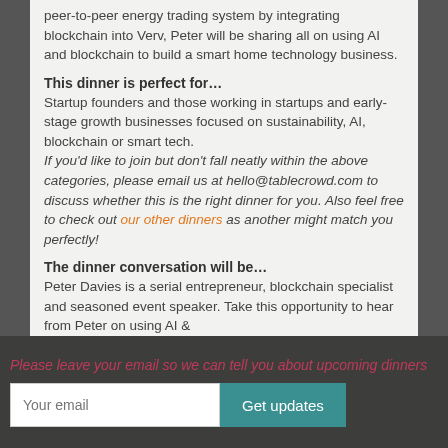peer-to-peer energy trading system by integrating blockchain into Verv, Peter will be sharing all on using AI and blockchain to build a smart home technology business.
This dinner is perfect for…
Startup founders and those working in startups and early-stage growth businesses focused on sustainability, AI, blockchain or smart tech. If you'd like to join but don't fall neatly within the above categories, please email us at hello@tablecrowd.com to discuss whether this is the right dinner for you. Also feel free to check out our other dinners as another might match you perfectly!
The dinner conversation will be…
Peter Davies is a serial entrepreneur, blockchain specialist and seasoned event speaker. Take this opportunity to hear from Peter on using AI &
Please leave your email so we can tell you about upcoming dinners
Your email  Get updates